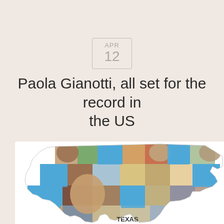APR
12
Paola Gianotti, all set for the record in the US
[Figure (photo): A photo mosaic in the shape of the United States of America, composed of multiple images of cyclists and people, with some US states highlighted in blue. The word TEXAS is visible on the map.]